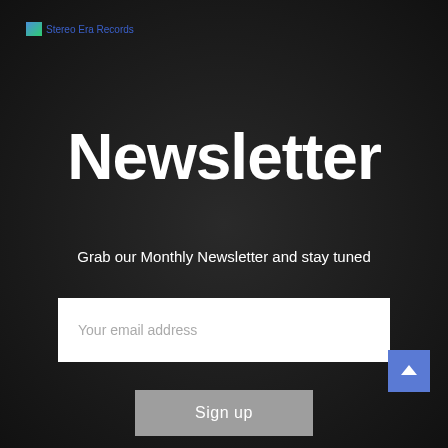[Figure (logo): Stereo Era Records logo with small image and blue text link]
Newsletter
Grab our Monthly Newsletter and stay tuned
[Figure (screenshot): Email input field with placeholder text 'Your email address' on white background]
[Figure (screenshot): Sign up button in grey]
[Figure (screenshot): Scroll to top button with upward chevron in blue]